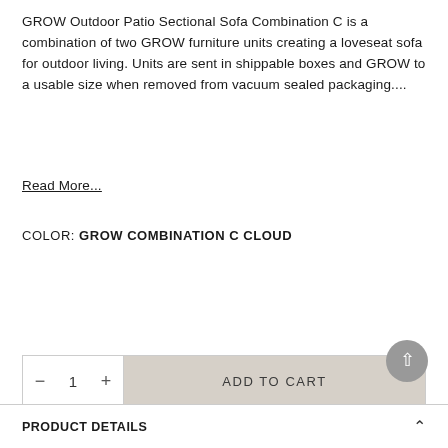GROW Outdoor Patio Sectional Sofa Combination C is a combination of two GROW furniture units creating a loveseat sofa for outdoor living. Units are sent in shippable boxes and GROW to a usable size when removed from vacuum sealed packaging....
Read More...
COLOR: GROW COMBINATION C CLOUD
[Figure (other): Two color swatches: first swatch selected with dark border showing light grey/cloud fabric texture, second swatch showing dark charcoal grey fabric. Partial third swatch visible at right edge.]
— 1 + ADD TO CART
PRODUCT DETAILS